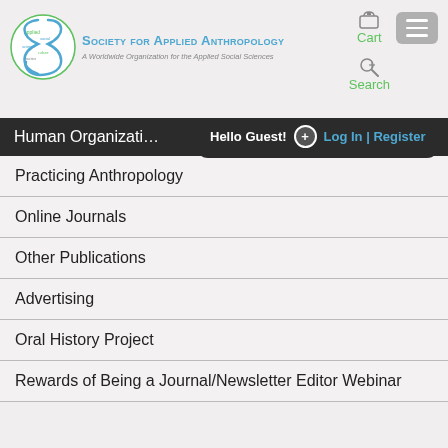[Figure (logo): Society for Applied Anthropology circular logo with text 'applied', 'social', 'science' arranged in the shape of an S]
Society for Applied Anthropology
A Worldwide Organization for the Applied Social Sciences
Cart
Search
Human Organizati…
Hello Guest! + Log In | Register
Practicing Anthropology
Online Journals
Other Publications
Advertising
Oral History Project
Rewards of Being a Journal/Newsletter Editor Webinar